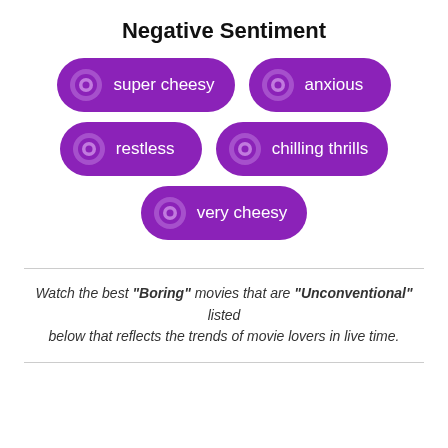Negative Sentiment
[Figure (infographic): Five purple pill-shaped sentiment bubbles with donut icons, labeled: super cheesy, anxious, restless, chilling thrills, very cheesy]
Watch the best "Boring" movies that are "Unconventional" listed below that reflects the trends of movie lovers in live time.